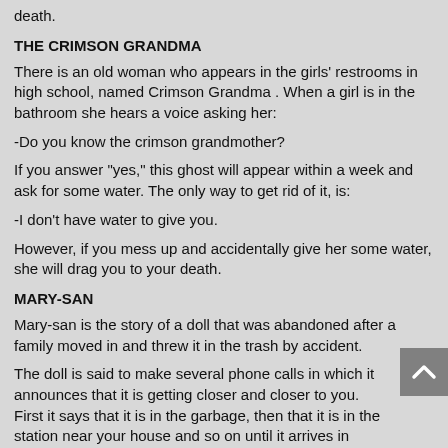death.
THE CRIMSON GRANDMA
There is an old woman who appears in the girls' restrooms in high school, named Crimson Grandma . When a girl is in the bathroom she hears a voice asking her:
-Do you know the crimson grandmother?
If you answer "yes," this ghost will appear within a week and ask for some water. The only way to get rid of it, is:
-I don't have water to give you.
However, if you mess up and accidentally give her some water, she will drag you to your death.
MARY-SAN
Mary-san is the story of a doll that was abandoned after a family moved in and threw it in the trash by accident.
The doll is said to make several phone calls in which it announces that it is getting closer and closer to you. First it says that it is in the garbage, then that it is in the station near your house and so on until it arrives in front of your